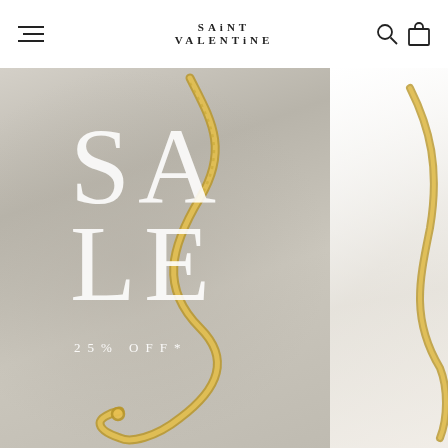SAINT VALENTiNE — navigation header with hamburger menu, logo, search and bag icons
[Figure (photo): Hero banner showing two panels: left panel with concrete/stone textured background featuring a golden snake chain laid in an S-curve, overlaid with large white serif text 'SALE' and '25% OFF*'; right panel showing a white fabric/textile background with a golden chain bracelet]
SALE
25% OFF*